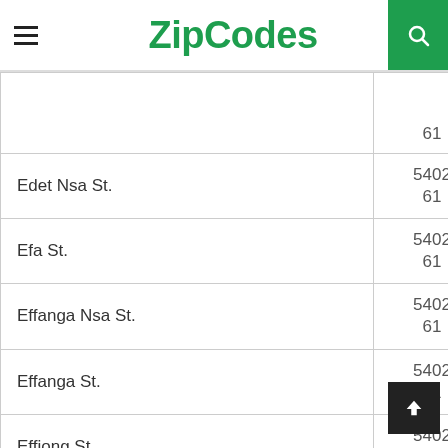ZipCodes
| Street | Zip Code |
| --- | --- |
|  | 61 |
| Edet Nsa St. | 540261 |
| Efa St. | 540261 |
| Effanga Nsa St. | 540261 |
| Effanga St. | 540261 |
| Effiong St. | 540261 |